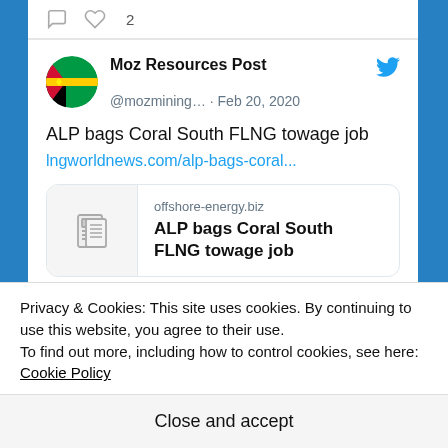[Figure (screenshot): Twitter/social media tweet card showing Moz Resources Post (@mozmining...) from Feb 20, 2020, with tweet text 'ALP bags Coral South FLNG towage job', a link to lngworldnews.com/alp-bags-coral..., and a link preview card for offshore-energy.biz showing 'ALP bags Coral South FLNG towage job'. Action bars show comment and like icons (2 likes at top, 1 like at bottom).]
Privacy & Cookies: This site uses cookies. By continuing to use this website, you agree to their use.
To find out more, including how to control cookies, see here: Cookie Policy
Close and accept